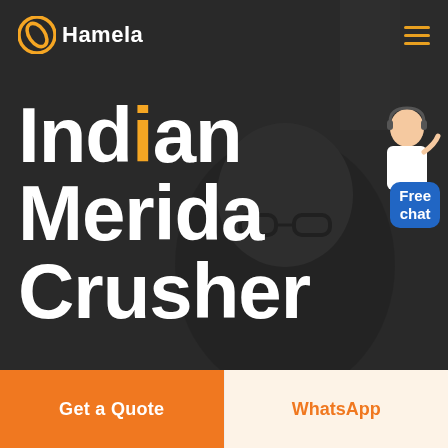[Figure (screenshot): Hamela website hero section with dark overlay background showing a person with glasses. Header bar with Hamela logo (orange icon and white text) on left and orange hamburger menu on right.]
Indian Merida Crusher
[Figure (illustration): Chat widget with agent avatar and blue 'Free chat' bubble]
Get a Quote
WhatsApp